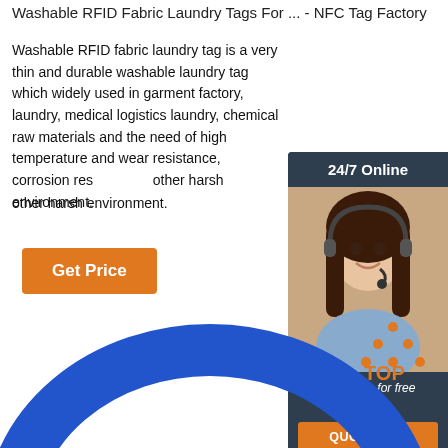Washable RFID Fabric Laundry Tags For ... - NFC Tag Factory
Washable RFID fabric laundry tag is a very thin and durable washable laundry tag which widely used in garment factory, laundry, medical logistics laundry, chemical raw materials and the need of high temperature and wear resistance, corrosion resistance and other harsh environment.
[Figure (other): Chat widget with 24/7 Online header, photo of woman with headset, 'Click here for free chat!' text, and QUOTATION button]
Get Price
[Figure (other): TOP navigation button with orange dots arranged in triangle above 'TOP' text]
[Figure (other): Blue circular ring shape visible at bottom of page]